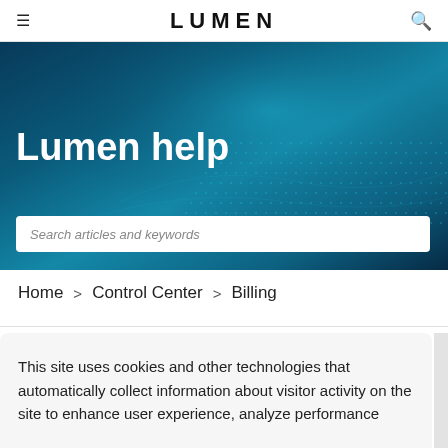LUMEN
[Figure (screenshot): Lumen help website hero banner with dark blue digital dot pattern background]
Lumen help
Search articles and keywords
Home > Control Center > Billing
This site uses cookies and other technologies that automatically collect information about visitor activity on the site to enhance user experience, analyze performance